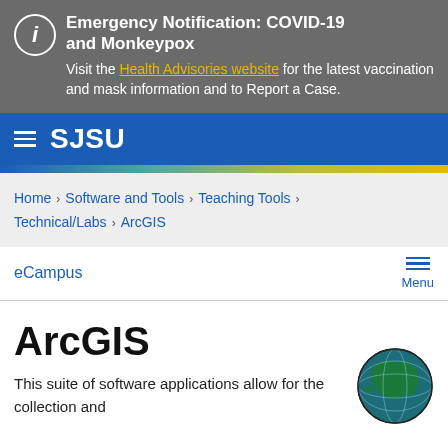Emergency Notification: COVID-19 and Monkeypox
Visit the Health Advisories website for the latest vaccination and mask information and to Report a Case.
SJSU
Home > Software and Tools > Teaching Tools > Technical/Labs > ArcGIS
eCampus  Menu
ArcGIS
This suite of software applications allow for the collection and